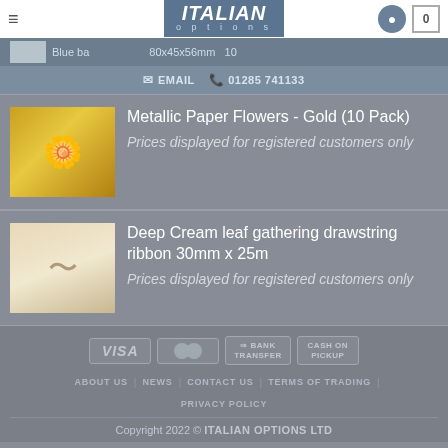[Figure (screenshot): Italian Options e-commerce website header with logo, hamburger menu, user icon, and cart icon showing 0 items]
EMAIL  01285 741133
[Figure (photo): Metallic gold paper flowers product image]
Metallic Paper Flowers - Gold (10 Pack)
Prices displayed for registered customers only
[Figure (photo): Deep cream leaf gathering drawstring ribbon product image]
Deep Cream leaf gathering drawstring ribbon 30mm x 25m
Prices displayed for registered customers only
[Figure (logo): Payment method icons: VISA, MasterCard, Bank Transfer, Cash on Pickup]
ABOUT US | NEWS | CONTACT US | TERMS OF TRADING | PRIVACY POLICY
Copyright 2022 © ITALIAN OPTIONS LTD